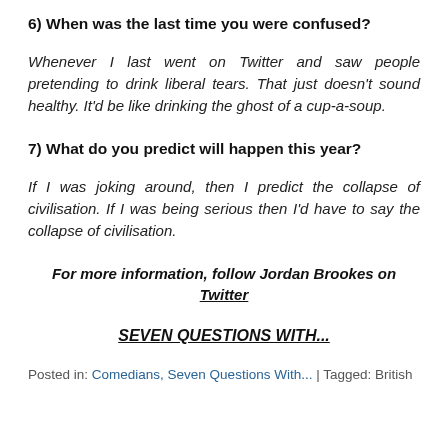6) When was the last time you were confused?
Whenever I last went on Twitter and saw people pretending to drink liberal tears. That just doesn't sound healthy. It'd be like drinking the ghost of a cup-a-soup.
7) What do you predict will happen this year?
If I was joking around, then I predict the collapse of civilisation. If I was being serious then I'd have to say the collapse of civilisation.
For more information, follow Jordan Brookes on Twitter
SEVEN QUESTIONS WITH...
Posted in: Comedians, Seven Questions With... | Tagged: British